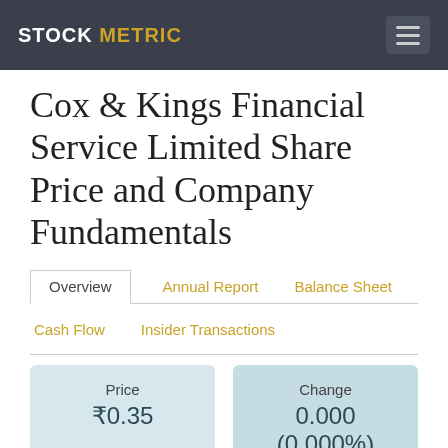STOCK METRIC
Cox & Kings Financial Service Limited Share Price and Company Fundamentals
Overview
Annual Report
Balance Sheet
Cash Flow
Insider Transactions
| Price | Change |
| --- | --- |
| ₹0.35 | 0.000 (0.000%) |